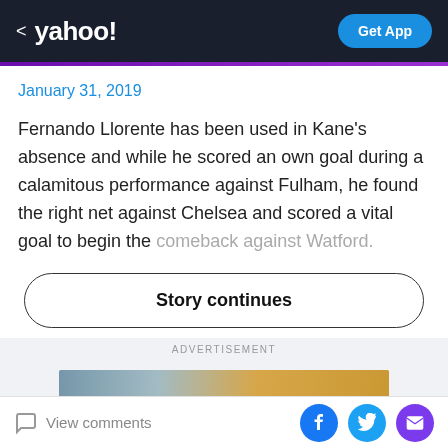< yahoo!  Get App
January 31, 2019
Fernando Llorente has been used in Kane's absence and while he scored an own goal during a calamitous performance against Fulham, he found the right net against Chelsea and scored a vital goal to begin the comeback against Watford.
Story continues
ADVERTISEMENT
View comments